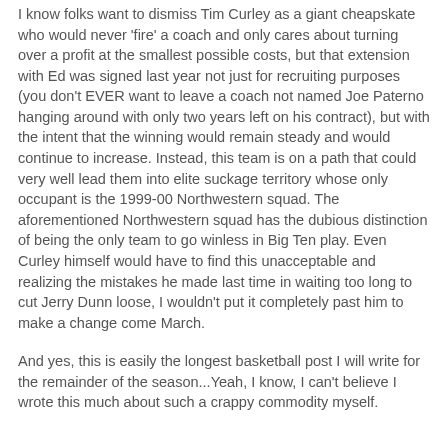I know folks want to dismiss Tim Curley as a giant cheapskate who would never 'fire' a coach and only cares about turning over a profit at the smallest possible costs, but that extension with Ed was signed last year not just for recruiting purposes (you don't EVER want to leave a coach not named Joe Paterno hanging around with only two years left on his contract), but with the intent that the winning would remain steady and would continue to increase. Instead, this team is on a path that could very well lead them into elite suckage territory whose only occupant is the 1999-00 Northwestern squad. The aforementioned Northwestern squad has the dubious distinction of being the only team to go winless in Big Ten play. Even Curley himself would have to find this unacceptable and realizing the mistakes he made last time in waiting too long to cut Jerry Dunn loose, I wouldn't put it completely past him to make a change come March.
And yes, this is easily the longest basketball post I will write for the remainder of the season...Yeah, I know, I can't believe I wrote this much about such a crappy commodity myself.